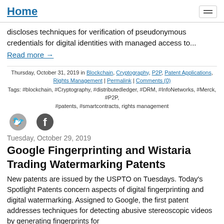Home
discloses techniques for verification of pseudonymous credentials for digital identities with managed access to...
Read more →
Thursday, October 31, 2019 in Blockchain, Cryptography, P2P, Patent Applications, Rights Management | Permalink | Comments (0)
Tags: #blockchain, #Cryptography, #distributedledger, #DRM, #InfoNetworks, #Merck, #P2P, #patents, #smartcontracts, rights management
[Figure (illustration): Twitter and Facebook social share icons]
Tuesday, October 29, 2019
Google Fingerprinting and Wistaria Trading Watermarking Patents
New patents are issued by the USPTO on Tuesdays. Today's Spotlight Patents concern aspects of digital fingerprinting and digital watermarking. Assigned to Google, the first patent addresses techniques for detecting abusive stereoscopic videos by generating fingerprints for